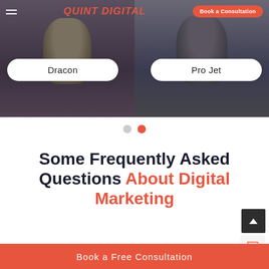[Figure (screenshot): Website screenshot showing Quint Digital navigation bar with logo and Book a Consultation button, two video thumbnails of speakers labeled Dracon and Pro Jet, carousel navigation dots, and FAQ section heading]
QUINT DIGITAL | Book a Consultation
Dracon
Pro Jet
Some Frequently Asked Questions About Digital Marketing
Book a Free Consultation